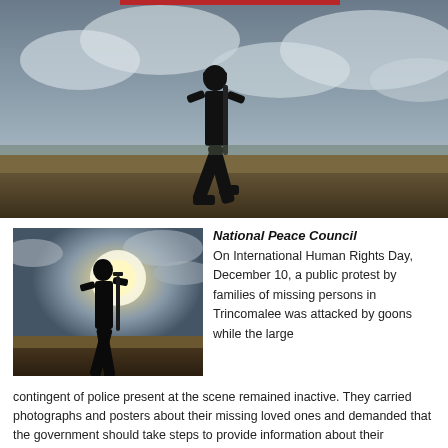[Figure (photo): Silhouette of a soldier walking on a raised surface against a cloudy sky, wide panoramic crop]
[Figure (photo): Silhouette of a person walking with a gun, backlit by bright sun with cloudy sky]
National Peace Council
On International Human Rights Day, December 10, a public protest by families of missing persons in Trincomalee was attacked by goons while the large contingent of police present at the scene remained inactive. They carried photographs and posters about their missing loved ones and demanded that the government should take steps to provide information about their whereabouts.   Civil Society and democratically elected representatives of the people also participated in the protest.  The goons attacked those participating in the protest and tore their posters